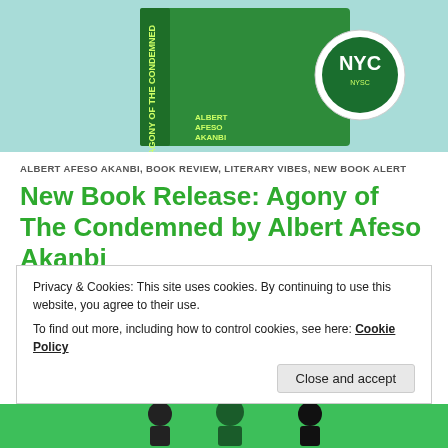[Figure (photo): Book cover photo of 'Agony of the Condemned' by Albert Afeso Akanbi on a teal/mint green background, with a green book spine visible and a circular NYSC emblem.]
ALBERT AFESO AKANBI, BOOK REVIEW, LITERARY VIBES, NEW BOOK ALERT
New Book Release: Agony of The Condemned by Albert Afeso Akanbi
24-year-old Jasini Geidam is posted to Edo State for NYSC. In Eket, he meets Nwaeka, a 16-year-old girl, mentally retarded from a 3-inch nail driven into her skull to extract a witchcraft confession at the
Privacy & Cookies: This site uses cookies. By continuing to use this website, you agree to their use.
To find out more, including how to control cookies, see here: Cookie Policy
Close and accept